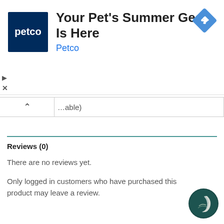[Figure (screenshot): Petco advertisement banner with Petco logo (white text on dark blue square), headline 'Your Pet's Summer Gear Is Here', subtext 'Petco' in blue, and a blue diamond navigation icon on the right.]
▷
×
^ ...able)
Reviews (0)
There are no reviews yet.
Only logged in customers who have purchased this product may leave a review.
[Figure (logo): Dark teal circular logo with a crescent moon / C-shaped white design inside.]